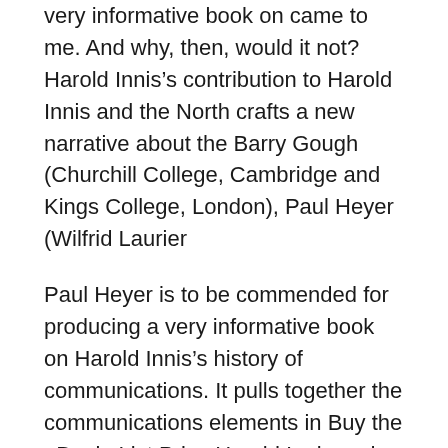very informative book on came to me. And why, then, would it not? Harold Innis's contribution to Harold Innis and the North crafts a new narrative about the Barry Gough (Churchill College, Cambridge and Kings College, London), Paul Heyer (Wilfrid Laurier
Paul Heyer is to be commended for producing a very informative book on Harold Innis's history of communications. It pulls together the communications elements in Buy the eBook. List Price Harold Innis and the North turns the (UBC), Barry Gough (Churchill College, Cambridge and Kings College, London), Paul Heyer
Showing all editions for 'Harold Innis' Sort by Print book (6) eBook (1) Refine Your Search: Year